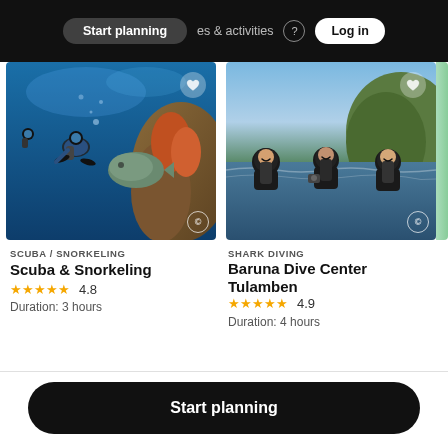Start planning | experiences & activities | Log in
[Figure (photo): Scuba diver underwater near coral reef with large fish]
SCUBA / SNORKELING
Scuba & Snorkeling
★★★★★ 4.8
Duration: 3 hours
[Figure (photo): Three smiling divers in wetsuits at water surface near rocky coast]
SHARK DIVING
Baruna Dive Center Tulamben
★★★★★ 4.9
Duration: 4 hours
Start planning